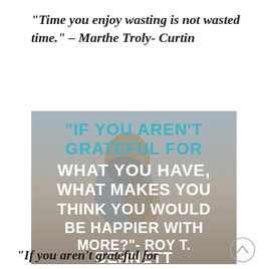“Time you enjoy wasting is not wasted time.” – Marthe Troly- Curtin
[Figure (photo): Motivational quote image overlaid on a photo of a parent and child at the beach. Text reads: "IF YOU AREN'T GRATEFUL FOR WHAT YOU HAVE, WHAT MAKES YOU THINK YOU WOULD BE HAPPIER WITH MORE?"- ROY T. BENNETT]
“If you aren’t grateful for